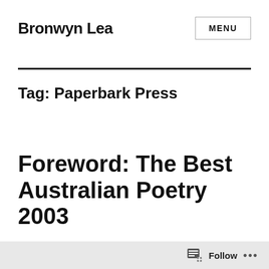Bronwyn Lea
Tag: Paperbark Press
Foreword: The Best Australian Poetry 2003
Follow